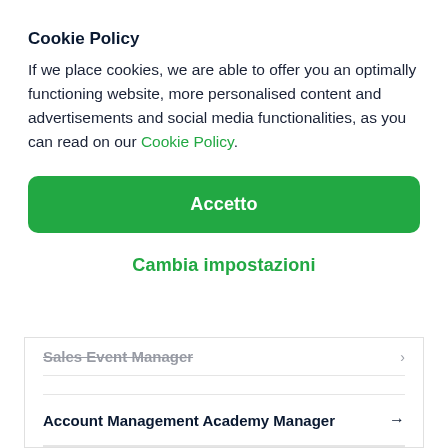Cookie Policy
If we place cookies, we are able to offer you an optimally functioning website, more personalised content and advertisements and social media functionalities, as you can read on our Cookie Policy.
Accetto
Cambia impostazioni
Sales Event Manager →
Account Management Academy Manager →